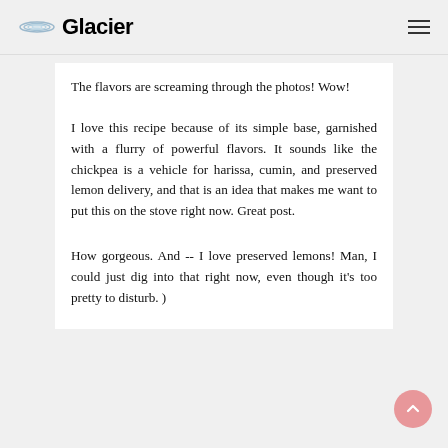Glacier
The flavors are screaming through the photos! Wow!
I love this recipe because of its simple base, garnished with a flurry of powerful flavors. It sounds like the chickpea is a vehicle for harissa, cumin, and preserved lemon delivery, and that is an idea that makes me want to put this on the stove right now. Great post.
How gorgeous. And -- I love preserved lemons! Man, I could just dig into that right now, even though it's too pretty to disturb. )